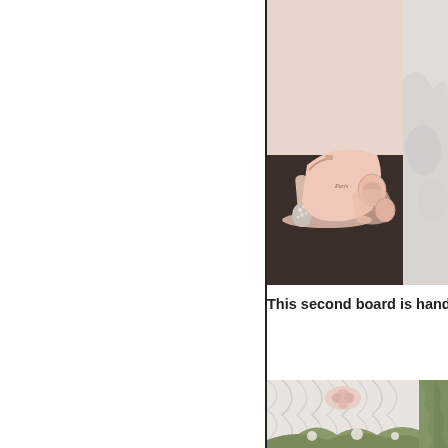[Figure (photo): Left panel: blank white area with vertical black border line on right side]
[Figure (photo): Photo of pink/blush peep-toe high heel shoes with crystal embellishments on the heel, displayed on dark surface with mint/teal colored backdrop]
[Figure (photo): Partial photo on right side, cropped — appears to show fabric or floral detail in light tones]
This second board is hands do
[Figure (photo): Photo of white draped fabric/tulle with floral greenery arrangement, likely a wedding decoration or backdrop]
[Figure (photo): Partial photo on right side, cropped — green foliage detail]